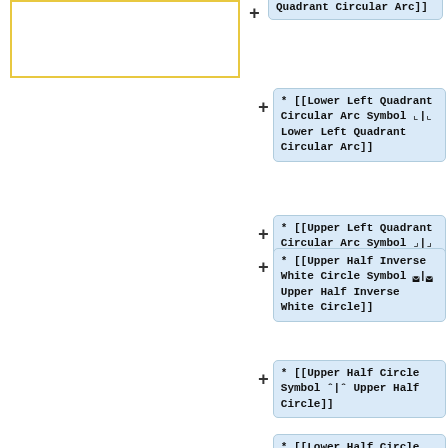[Figure (other): Yellow-bordered empty box on the left panel]
* [[Lower Left Quadrant Circular Arc Symbol \u231e|\u231e Lower Left Quadrant Circular Arc]]
* [[Upper Left Quadrant Circular Arc Symbol \u231f|\u231f Upper Left Quadrant Circular Arc]]
* [[Upper Half Inverse White Circle Symbol \u25db|\u25db Upper Half Inverse White Circle]]
* [[Upper Half Circle Symbol \u2c|\u2c Upper Half Circle]]
* [[Lower Half Circle Symbol \u2d|\u2d Lower Half